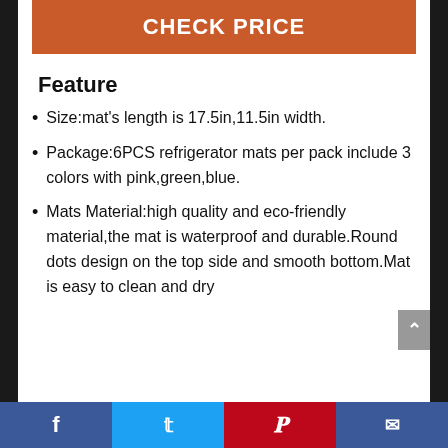CHECK PRICE
Feature
Size:mat's length is 17.5in,11.5in width.
Package:6PCS refrigerator mats per pack include 3 colors with pink,green,blue.
Mats Material:high quality and eco-friendly material,the mat is waterproof and durable.Round dots design on the top side and smooth bottom.Mat is easy to clean and dry
Facebook | Twitter | Pinterest | Email